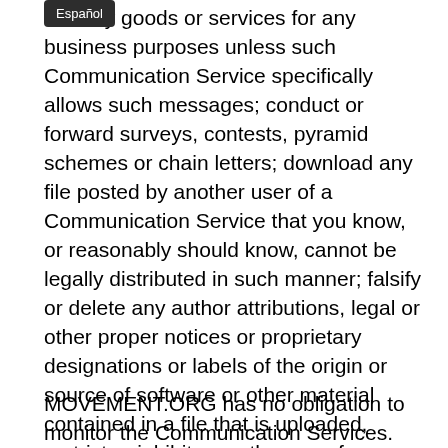sell any goods or services for any business purposes unless such Communication Service specifically allows such messages; conduct or forward surveys, contests, pyramid schemes or chain letters; download any file posted by another user of a Communication Service that you know, or reasonably should know, cannot be legally distributed in such manner; falsify or delete any author attributions, legal or other proper notices or proprietary designations or labels of the origin or source of software or other material contained in a file that is uploaded, restrict or inhibit any other user from using and enjoying the Communication Services; violate any code of conduct or other guidelines which may be applicable for any particular Communication Service; harvest or otherwise collect information about others, including e-mail addresses, without their consent; violate any applicable laws or regulations.
MOVEMENT.ORG has no obligation to monitor the Communication Services. However, MOVEMENT.ORG